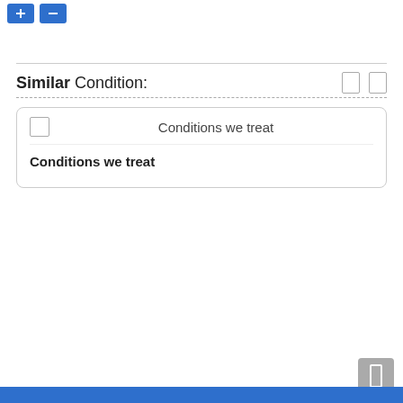[Figure (screenshot): Two blue navigation/action buttons at top left corner]
Similar Condition:
Conditions we treat
Conditions we treat